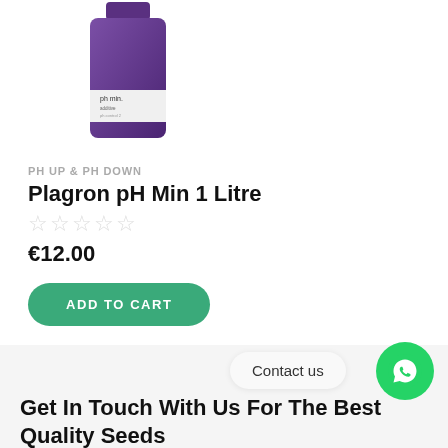[Figure (photo): Product photo of Plagron pH Min 1 Litre bottle with purple label on white background]
PH UP & PH DOWN
Plagron pH Min 1 Litre
★★★★★ (empty stars, 0 rating)
€12.00
ADD TO CART
Contact us
Get In Touch With Us For The Best Quality Seeds